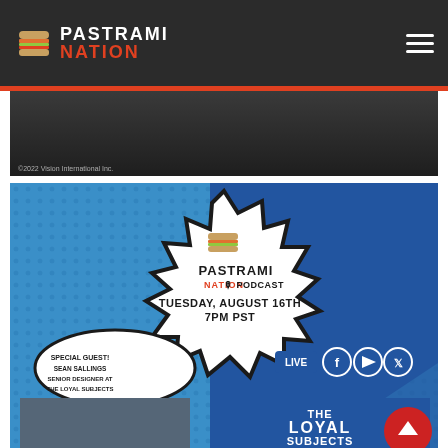[Figure (logo): Pastrami Nation logo with sandwich icon, white PASTRAMI text and red NATION text on dark header]
[Figure (screenshot): Dark background image area with copyright text '©2022 Vision International Inc.']
[Figure (illustration): Pastrami Nation Podcast promotional poster on blue comic-style background. Starburst shape with PASTRAMI NATION PODCAST logo, TUESDAY, AUGUST 16TH 7PM PST. Speech bubble: SPECIAL GUEST! SEAN SALLINGS SENIOR DESIGNER AT THE LOYAL SUBJECTS. Shows LIVE Facebook YouTube Twitter icons. Photo of bearded man, The Loyal Subjects logo.]